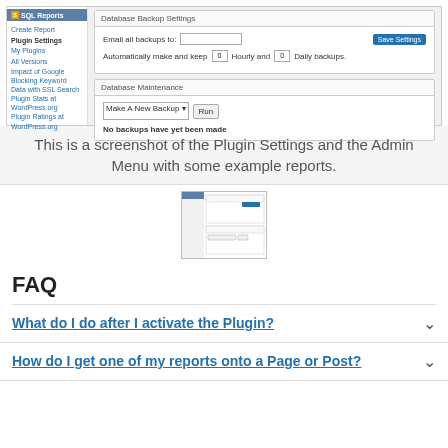[Figure (screenshot): Screenshot of SQL Reports Plugin Settings page with sidebar navigation showing links: Create Report, Plugin Settings (bold), My Plugins, All Versions, Impact of Google Blocking Keyword Data with SSL Search, Plugin Stats at WordPress.org, Plugin Ratings at WordPress.org. Main panel shows Database Backup Settings with email field, Save Settings button, hourly and daily backup number inputs, and Database Maintenance section with Make A New Backup dropdown, Run button, and text 'No backups have yet been made'.]
This is a screenshot of the Plugin Settings and the Admin Menu with some example reports.
[Figure (screenshot): Small thumbnail image of the Plugin Settings screenshot]
FAQ
What do I do after I activate the Plugin?
How do I get one of my reports onto a Page or Post?